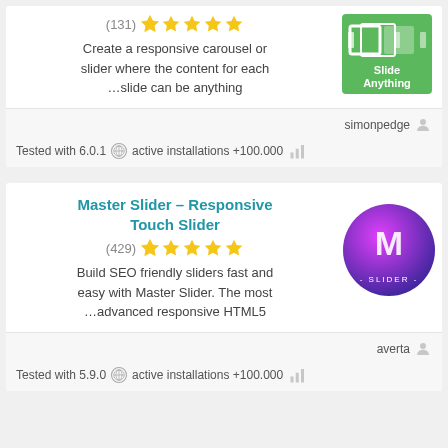Create a responsive carousel or slider where the content for each …slide can be anything
(131) ★★★★★
[Figure (screenshot): Slide Anything plugin thumbnail - green background with slider icons and text 'Slide Anything']
simonpedge
Tested with 6.0.1 active installations +100.000
Master Slider – Responsive Touch Slider
(429) ★★★★★
[Figure (logo): Master Slider logo - purple/pink gradient circle with M letter and text '- SLIDER -']
Build SEO friendly sliders fast and easy with Master Slider. The most …advanced responsive HTML5
averta
Tested with 5.9.0 active installations +100.000